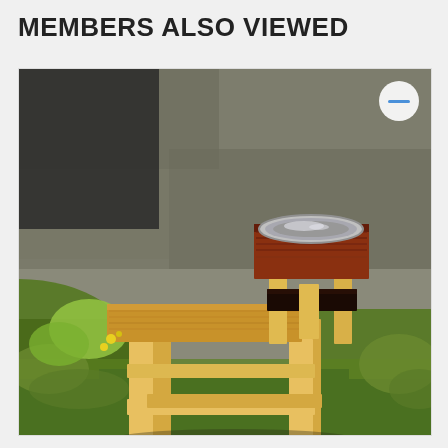MEMBERS ALSO VIEWED
[Figure (photo): A wooden elevated dog feeding stand/table with light maple legs and frame, dark wood top surface with a stainless steel dog bowl inserted into it. The stand is photographed outdoors on grass with a stone wall background. A circular minus/remove button is visible in the top right corner of the image.]